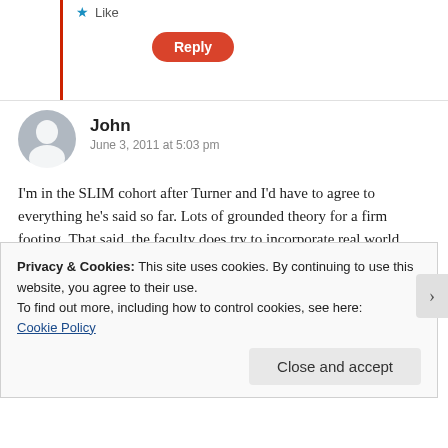Like
Reply
John
June 3, 2011 at 5:03 pm
I'm in the SLIM cohort after Turner and I'd have to agree to everything he's said so far. Lots of grounded theory for a firm footing. That said, the faculty does try to incorporate real world discussions into classroom time (Maybe not as much as I would like but time is limited and you can always talk to profs after class . . .)
The use of local profs is important for the networking which is emphasized by Perri Parise, who is firmly embedded in the NW
Privacy & Cookies: This site uses cookies. By continuing to use this website, you agree to their use.
To find out more, including how to control cookies, see here:
Cookie Policy
Close and accept